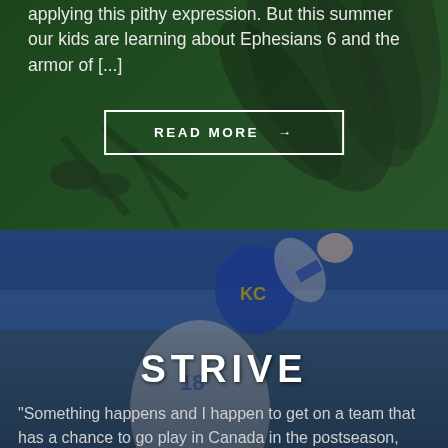applying this pithy expression. But this summer our kids are learning about Ephesians 6 and the armor of [...]
READ MORE →
[Figure (photo): Baseball player in Kansas City Royals uniform (number 18) celebrating, wearing blue helmet, raising fist, with crowd in background]
STRIVE
“Something happens and I happen to get on a team that has a chance to go play in Canada in the postseason, maybe that changes. But as we sit here